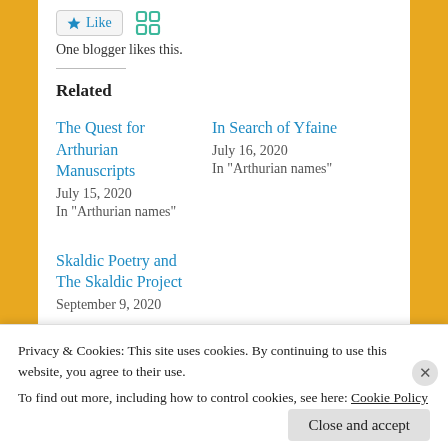[Figure (other): Like button with star icon and reblog icon]
One blogger likes this.
Related
The Quest for Arthurian Manuscripts
July 15, 2020
In "Arthurian names"
In Search of Yfaine
July 16, 2020
In "Arthurian names"
Skaldic Poetry and The Skaldic Project
September 9, 2020
Privacy & Cookies: This site uses cookies. By continuing to use this website, you agree to their use.
To find out more, including how to control cookies, see here: Cookie Policy
Close and accept